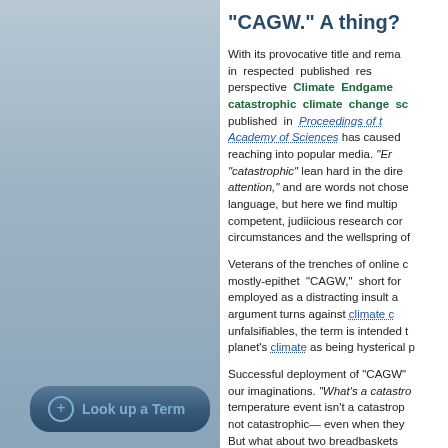"CAGW." A thing?
With its provocative title and rema in respected published res perspective Climate Endgame catastrophic climate change sc published in Proceedings of t Academy of Sciences has caused reaching into popular media. "Er "catastrophic" lean hard in the dire attention," and are words not chose language, but here we find multip competent, judiicious research cor circumstances and the wellspring of
Veterans of the trenches of online c mostly-epithet "CAGW," short for employed as a distracting insult a argument turns against climate c unfalsifiables, the term is intended t planet's climate as being hysterical p
Successful deployment of "CAGW" our imaginations. "What's a catastroph temperature event isn't a catastrop not catastrophic— even when they But what about two breadbaskets
Look up a Term